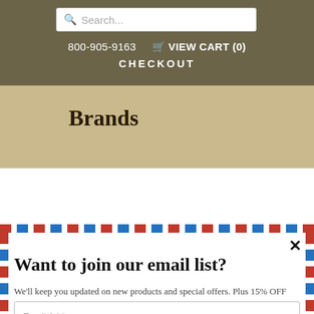[Figure (screenshot): Website header with dark olive/brown background showing search bar, phone number 800-905-9163, VIEW CART (0) link, CHECKOUT link, and 'Brands' text on kraft paper background]
[Figure (screenshot): Email signup popup modal with airmail border stripes. Contains title 'Want to join our email list?', body text about updates and 15% OFF, email address input field, and Sign Me Up button]
Want to join our email list?
We'll keep you updated on new products and special offers. Plus 15% OFF your first order!
Email Address
Sign Me Up